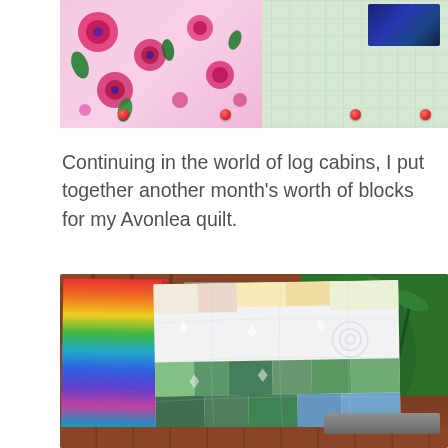[Figure (photo): Top portion of a quilt with floral fabric pinned to a green cutting mat grid, with a dark navy/blue quilt piece and red pins visible]
Continuing in the world of log cabins, I put together another month's worth of blocks for my Avonlea quilt.
[Figure (photo): A colorful quilt draped over a wooden deck railing, showing a log cabin style quilt with green and white blocks on the front, and a rainbow-striped backing with red binding visible on the left side. Green plants in a container are in the background on the right.]